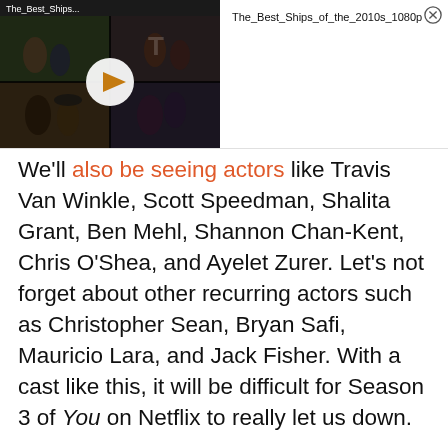[Figure (screenshot): Video thumbnail widget showing a grid of TV show scenes with a play button overlay, labeled 'The_Best_Ships...' at top left. Right side shows title 'The_Best_Ships_of_the_2010s_1080p' with a close (X) button.]
We'll also be seeing actors like Travis Van Winkle, Scott Speedman, Shalita Grant, Ben Mehl, Shannon Chan-Kent, Chris O'Shea, and Ayelet Zurer. Let's not forget about other recurring actors such as Christopher Sean, Bryan Safi, Mauricio Lara, and Jack Fisher. With a cast like this, it will be difficult for Season 3 of You on Netflix to really let us down.